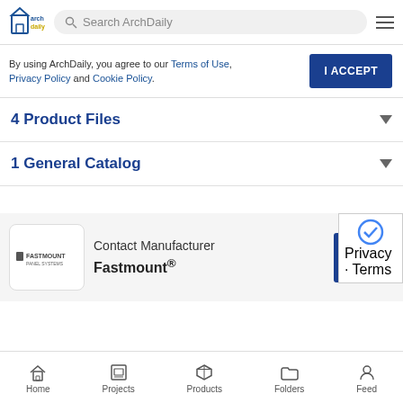ArchDaily — Search ArchDaily
By using ArchDaily, you agree to our Terms of Use, Privacy Policy and Cookie Policy.
I ACCEPT
4 Product Files
1 General Catalog
Contact Manufacturer Fastmount®
Send m
Home  Projects  Products  Folders  Feed